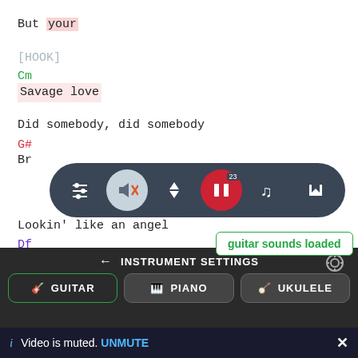But your
[HOOK]
Cm
Savage love
Did somebody, did somebody
G#
Br...
[Figure (screenshot): App toolbar with icons: settings sliders, muted speaker, up/down arrows, red pause button with badge '23', music note, and bracket-down icon]
Lookin' like an angel
Df...
guitar sounds loaded
INSTRUMENT SETTINGS
GUITAR  PIANO  UKULELE
Video is muted. UNMUTE